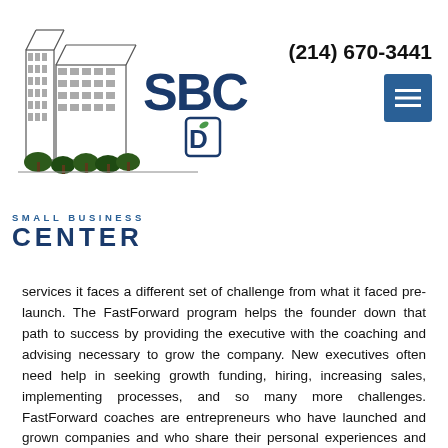[Figure (logo): Small Business Center (SBC) logo with building illustration and Dallas D icon]
(214) 670-3441
services it faces a different set of challenge from what it faced pre-launch. The FastForward program helps the founder down that path to success by providing the executive with the coaching and advising necessary to grow the company. New executives often need help in seeking growth funding, hiring, increasing sales, implementing processes, and so many more challenges. FastForward coaches are entrepreneurs who have launched and grown companies and who share their personal experiences and knowledge with the client.
Cowtown Angels Based in Fort Worth, TX, Cowtown Angels is an angel network that connects entrepreneurs seeking early-stage funding with